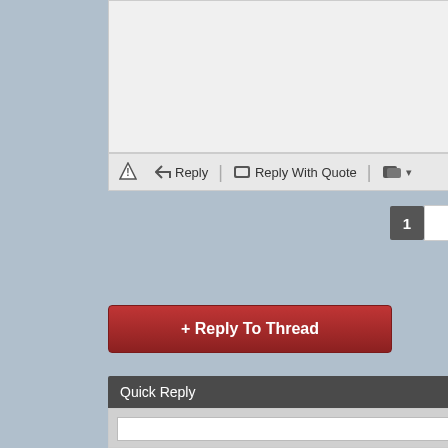[Figure (screenshot): Forum post panel with light gray background, partial view of post content area on left]
Once you go turbo you'll never go back!!!
[Figure (illustration): Small animated smiley emoji holding a drink]
Reply | Reply With Quote | [icon]
1  2  ▶  Last
+ Reply To Thread
Quick Reply